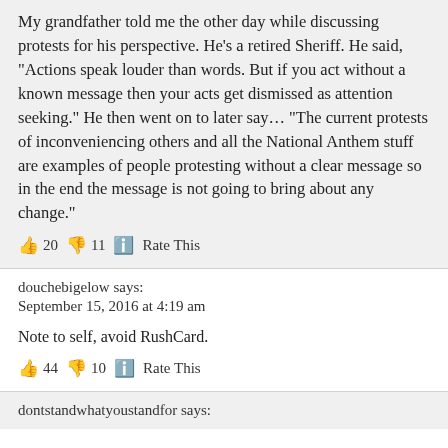My grandfather told me the other day while discussing protests for his perspective. He's a retired Sheriff. He said, "Actions speak louder than words. But if you act without a known message then your acts get dismissed as attention seeking." He then went on to later say… "The current protests of inconveniencing others and all the National Anthem stuff are examples of people protesting without a clear message so in the end the message is not going to bring about any change."
👍 20 👎 11 ℹ Rate This
douchebigelow says:
September 15, 2016 at 4:19 am
Note to self, avoid RushCard.
👍 44 👎 10 ℹ Rate This
dontstandwhatyoustandfor says: